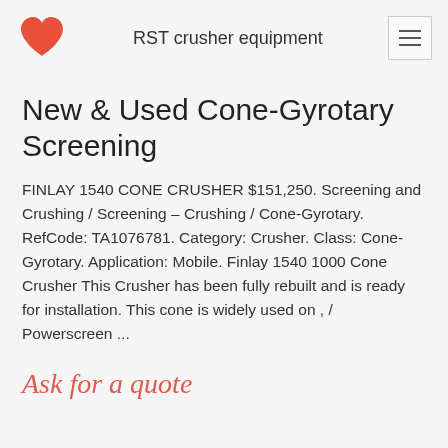RST crusher equipment
New & Used Cone-Gyrotary Screening
FINLAY 1540 CONE CRUSHER $151,250. Screening and Crushing / Screening – Crushing / Cone-Gyrotary. RefCode: TA1076781. Category: Crusher. Class: Cone-Gyrotary. Application: Mobile. Finlay 1540 1000 Cone Crusher This Crusher has been fully rebuilt and is ready for installation. This cone is widely used on , / Powerscreen ...
Ask for a quote